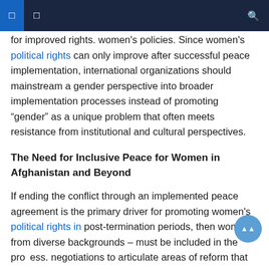for improved rights. women's policies. Since women's political rights can only improve after successful peace implementation, international organizations should mainstream a gender perspective into broader implementation processes instead of promoting “gender” as a unique problem that often meets resistance from institutional and cultural perspectives.
The Need for Inclusive Peace for Women in Afghanistan and Beyond
If ending the conflict through an implemented peace agreement is the primary driver for promoting women's political rights in post-termination periods, then women – from diverse backgrounds – must be included in the process. negotiations to articulate areas of reform that are relevant